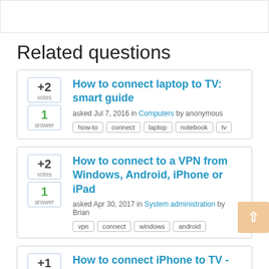[Figure (other): Top banner/header area, white rectangle with border]
Related questions
How to connect laptop to TV: smart guide — asked Jul 7, 2016 in Computers by anonymous — tags: how-to, connect, laptop, notebook, tv — +2 votes, 1 answer
How to connect to a VPN from Windows, Android, iPhone or iPad — asked Apr 30, 2017 in System administration by Brian — tags: vpn, connect, windows, android — +2 votes, 1 answer
How to connect iPhone to TV - detailed Instruction — +1 vote